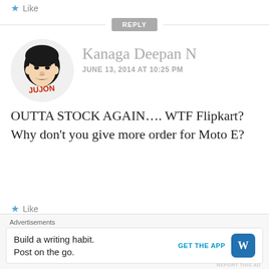Like
REPLY
[Figure (illustration): Avatar illustration of a man with black hair and mustache, with red text 'JUJON' overlay, in a circular frame]
Kanaga Deepan N
JUNE 13, 2014 AT 10:25 PM
OUTTA STOCK AGAIN.... WTF Flipkart? Why don’t you give more order for Moto E?
Like
REPLY
Advertisements
Build a writing habit. Post on the go.
GET THE APP